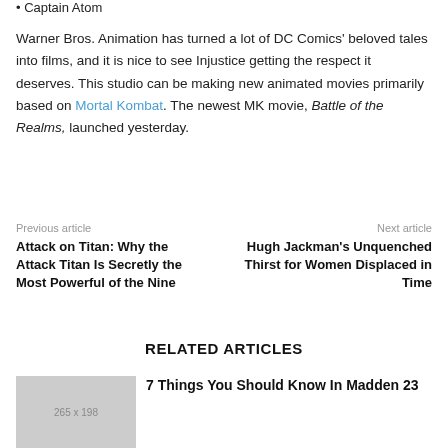Captain Atom
Warner Bros. Animation has turned a lot of DC Comics' beloved tales into films, and it is nice to see Injustice getting the respect it deserves. This studio can be making new animated movies primarily based on Mortal Kombat. The newest MK movie, Battle of the Realms, launched yesterday.
Previous article
Attack on Titan: Why the Attack Titan Is Secretly the Most Powerful of the Nine
Next article
Hugh Jackman's Unquenched Thirst for Women Displaced in Time
RELATED ARTICLES
7 Things You Should Know In Madden 23